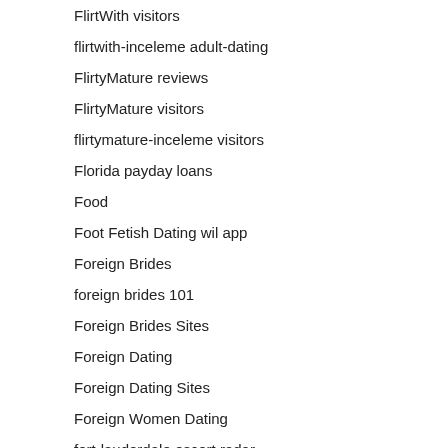FlirtWith visitors
flirtwith-inceleme adult-dating
FlirtyMature reviews
FlirtyMature visitors
flirtymature-inceleme visitors
Florida payday loans
Food
Foot Fetish Dating wil app
Foreign Brides
foreign brides 101
Foreign Brides Sites
Foreign Dating
Foreign Dating Sites
Foreign Women Dating
fort-lauderdale escort radar
fort-wayne escort directory
fort-wayne-dating review
fort-worth escort sites